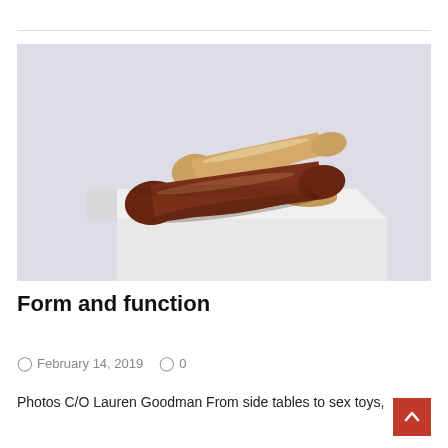[Figure (photo): Two wooden elongated paddle/spoon shaped objects — one light tan wood and one dark reddish-brown wood — resting on wooden cylindrical bases on top of a white cube pedestal, against a pale lavender-gray background.]
Form and function
February 14, 2019   0
Photos C/O Lauren Goodman From side tables to sex toys,